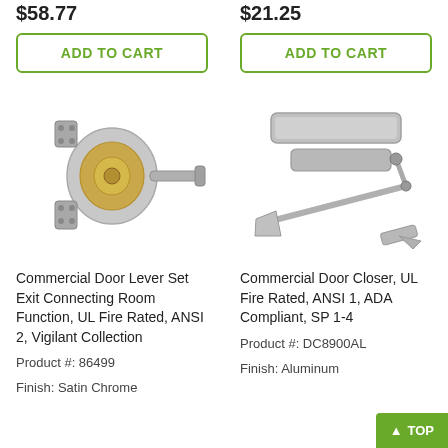$58.77
$21.25
ADD TO CART
ADD TO CART
[Figure (photo): Commercial door lever set with satin chrome finish showing internal mechanism]
[Figure (photo): Commercial door closer with aluminum finish showing arm and mounting hardware]
Commercial Door Lever Set Exit Connecting Room Function, UL Fire Rated, ANSI 2, Vigilant Collection
Commercial Door Closer, UL Fire Rated, ANSI 1, ADA Compliant, SP 1-4
Product #: 86499
Finish: Satin Chrome
Product #: DC8900AL
Finish: Aluminum